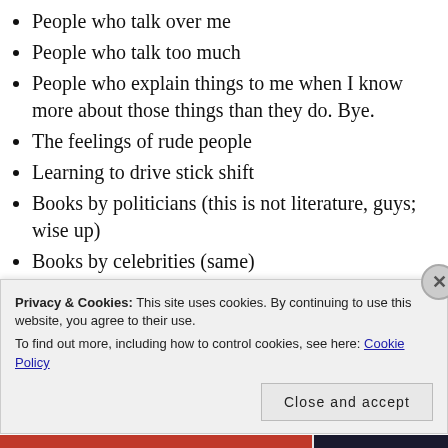People who talk over me
People who talk too much
People who explain things to me when I know more about those things than they do. Bye.
The feelings of rude people
Learning to drive stick shift
Books by politicians (this is not literature, guys; wise up)
Books by celebrities (same)
White papers (don’t write ‘em; don’t read ‘em)
Privacy & Cookies: This site uses cookies. By continuing to use this website, you agree to their use.
To find out more, including how to control cookies, see here: Cookie Policy
Close and accept